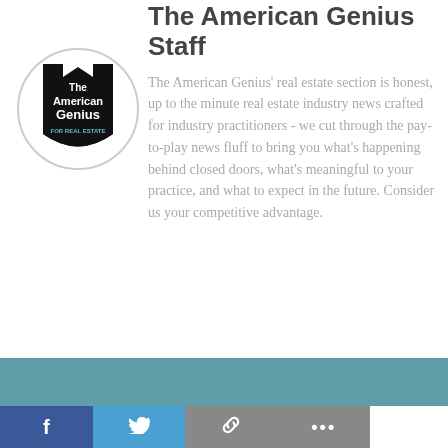The American Genius Staff
[Figure (logo): The American Genius For Real Estate logo — black shield/badge shape with white text inside a light gray circle border]
The American Genius' real estate section is honest, up to the minute real estate industry news crafted for industry practitioners - we cut through the pay-to-play news fluff to bring you what's happening behind closed doors, what's meaningful to your practice, and what to expect in the future. Consider us your competitive advantage.
[Figure (infographic): Bottom social sharing bar with teal strip and four buttons: Facebook (dark blue, f icon), Twitter (light blue, bird icon), Link/copy (gray, chain icon), More (gray, ellipsis icon)]